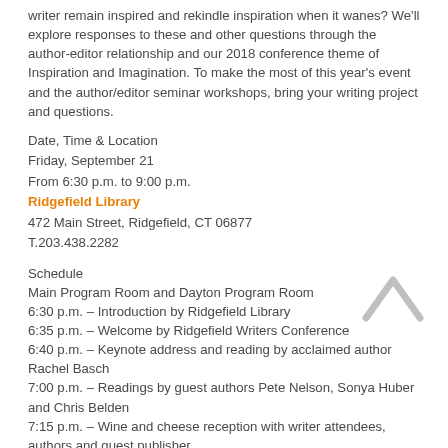writer remain inspired and rekindle inspiration when it wanes? We'll explore responses to these and other questions through the author-editor relationship and our 2018 conference theme of Inspiration and Imagination. To make the most of this year's event and the author/editor seminar workshops, bring your writing project and questions.
Date, Time & Location
Friday, September 21
From 6:30 p.m. to 9:00 p.m.
Ridgefield Library
472 Main Street, Ridgefield, CT 06877
T.203.438.2282
Schedule
Main Program Room and Dayton Program Room
6:30 p.m. – Introduction by Ridgefield Library
6:35 p.m. – Welcome by Ridgefield Writers Conference
6:40 p.m. – Keynote address and reading by acclaimed author Rachel Basch
7:00 p.m. – Readings by guest authors Pete Nelson, Sonya Huber and Chris Belden
7:15 p.m. – Wine and cheese reception with writer attendees, authors and guest publisher